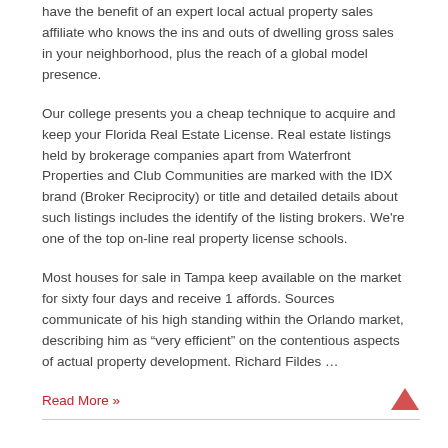have the benefit of an expert local actual property sales affiliate who knows the ins and outs of dwelling gross sales in your neighborhood, plus the reach of a global model presence.
Our college presents you a cheap technique to acquire and keep your Florida Real Estate License. Real estate listings held by brokerage companies apart from Waterfront Properties and Club Communities are marked with the IDX brand (Broker Reciprocity) or title and detailed details about such listings includes the identify of the listing brokers. We're one of the top on-line real property license schools.
Most houses for sale in Tampa keep available on the market for sixty four days and receive 1 affords. Sources communicate of his high standing within the Orlando market, describing him as “very efficient” on the contentious aspects of actual property development. Richard Fildes …
Read More »